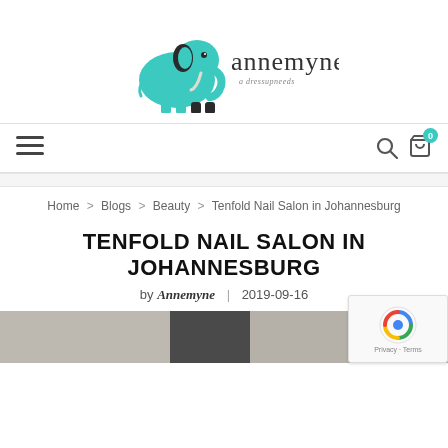[Figure (logo): Annemyne blog logo featuring a teal/turquoise elephant with black accents and the cursive text 'annemyne' with subtitle text below]
[Figure (infographic): Navigation bar with hamburger menu icon on left, search and cart icons on right, cart badge showing 0]
Home > Blogs > Beauty > Tenfold Nail Salon in Johannesburg
TENFOLD NAIL SALON IN JOHANNESBURG
by Annemyne | 2019-09-16
[Figure (photo): Partial view of article header image, grey/beige tones, partially obscured by reCAPTCHA widget]